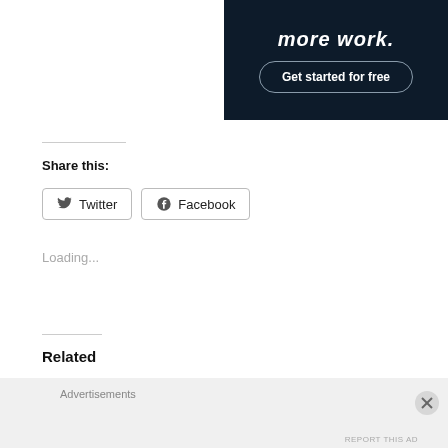[Figure (screenshot): Dark advertisement banner with bold italic white text 'more work.' and a 'Get started for free' button with rounded border]
Share this:
Twitter  Facebook
Loading...
Related
USB F...  Pt 4 Vol...  Serial Nu...  USB F...
Advertisements